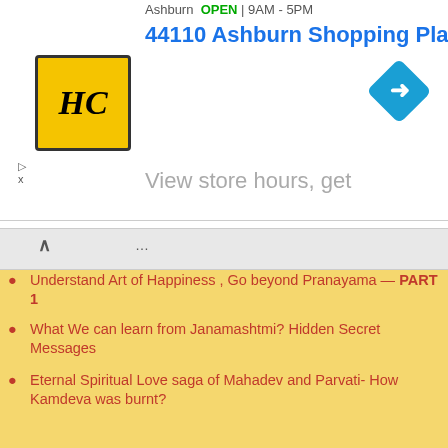[Figure (screenshot): Ad banner showing HC logo, address '44110 Ashburn Shopping Plaza 1.', navigation icon, and 'View store hours, get' text]
Understand Art of Happiness , Go beyond Pranayama — PART 1
What We can learn from Janamashtmi? Hidden Secret Messages
Eternal Spiritual Love saga of Mahadev and Parvati- How Kamdeva was burnt?
Maha Shivaratri- What to do ? Fasting, Chanting , Meditation
Strength of Planets: The Shadbala
Know your Isht Devta , Find it from Kundli – Horoscope ..
Avoid Sex and Kitchen in those days.... Medical Astrology for Menstrual Periods.